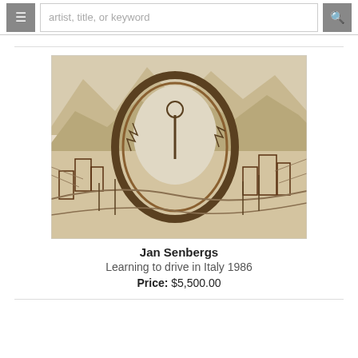artist, title, or keyword
[Figure (illustration): A detailed drawing artwork by Jan Senbergs titled 'Learning to drive in Italy 1986'. The artwork shows an intricate pen-and-ink style landscape with mountains, buildings, and a large circular/oval ring shape dominating the center. The scene depicts an Italian landscape with a figure inside the oval mirror/ring, surrounded by rocky terrain and structures in warm sepia tones.]
Jan Senbergs
Learning to drive in Italy 1986
Price: $5,500.00